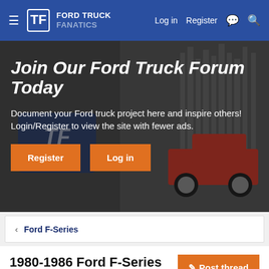Ford Truck Fanatics — Log in  Register
Join Our Ford Truck Forum Today
Document your Ford truck project here and inspire others! Login/Register to view the site with fewer ads.
Register
Log in
< Ford F-Series
1980-1986 Ford F-Series
Gen 7 Ford F-150, F-250, F-350 discussions.
Post thread
Gen 7 community discussions post t…